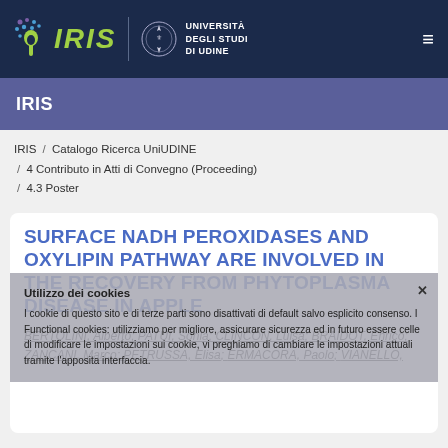[Figure (logo): IRIS logo with icon and text on dark navy background, alongside Università degli Studi di Udine emblem and text, with hamburger menu icon]
IRIS
IRIS / Catalogo Ricerca UniUDINE / 4 Contributo in Atti di Convegno (Proceeding) / 4.3 Poster
SURFACE NADH PEROXIDASES AND OXYLIPIN PATHWAY ARE INVOLVED IN THE RECOVERY FROM PHYTOPLASMA DISEASE IN APPLE
BERTOLINI, Alberto; PATUI, Sonia; CLINCON, Luisa; BRAIDOT, Enrico; ZANCANI, Marco; PETRUSSA, Elisa; ERMACORA, Paolo; VIANELLO,
Utilizzo dei cookies
I cookie di questo sito e di terze parti sono disattivati di default salvo esplicito consenso. I Functional cookies: utilizzio per migliore, assicurare sicurezza ed in futuro essere celle di modificare le impostazioni sui cookie, vi preghiamo di cambiare le impostazioni attuali tramite l'apposita interfaccia.